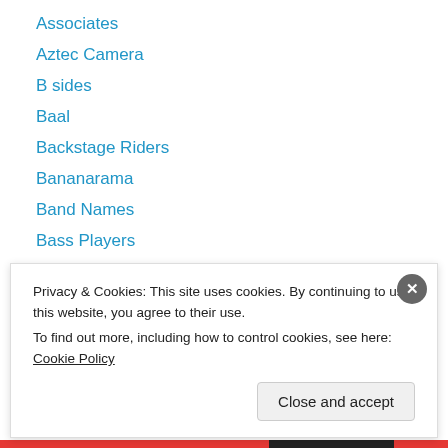Associates
Aztec Camera
B sides
Baal
Backstage Riders
Bananarama
Band Names
Bass Players
Beastie Boys
Ben Sidran
Best 12" Singles of the 1980s
Best Albums Of The 1980s
Best Bits of 1980s Pop
Privacy & Cookies: This site uses cookies. By continuing to use this website, you agree to their use.
To find out more, including how to control cookies, see here: Cookie Policy
Close and accept